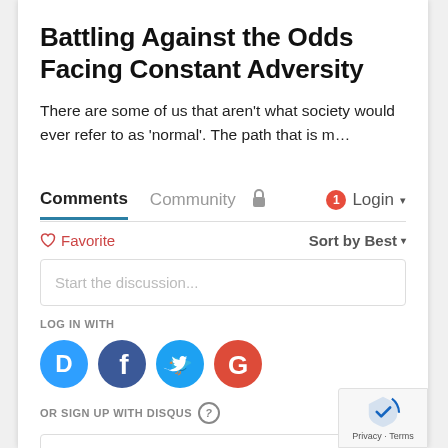Battling Against the Odds Facing Constant Adversity
There are some of us that aren't what society would ever refer to as 'normal'. The path that is m…
[Figure (screenshot): Disqus comments widget with tabs: Comments (active, underlined in teal), Community, lock icon, notification badge with 1, Login with dropdown arrow. Below: heart Favorite on left, Sort by Best dropdown on right. Comment input box 'Start the discussion...'. LOG IN WITH label. Social login icons: Disqus (blue D), Facebook (dark blue f), Twitter (cyan bird), Google (red G). OR SIGN UP WITH DISQUS with help circle. Privacy/Terms badge in bottom right corner.]